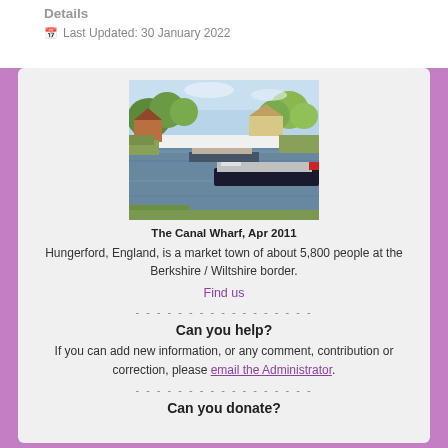Details
Last Updated: 30 January 2022
[Figure (photo): The Canal Wharf, Hungerford, England — a scenic canal with narrowboats, green trees along the banks, and houses in the background, photographed in April 2011.]
The Canal Wharf, Apr 2011
Hungerford, England, is a market town of about 5,800 people at the Berkshire / Wiltshire border.
Find us
- - - - - - - - - - - - - - - - -
Can you help?
If you can add new information, or any comment, contribution or correction, please email the Administrator.
- - - - - - - - - - - - - - - - -
Can you donate?